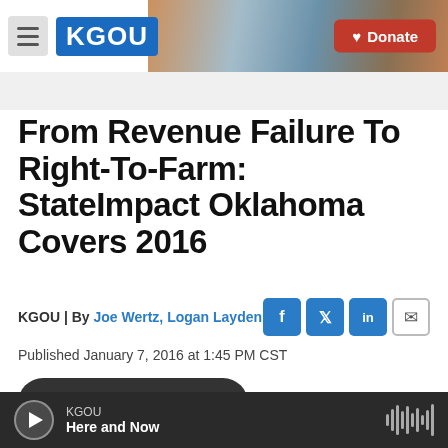KGOU | Donate
From Revenue Failure To Right-To-Farm: StateImpact Oklahoma Covers 2016
KGOU | By Joe Wertz, Logan Layden
Published January 7, 2016 at 1:45 PM CST
KGOU — Here and Now